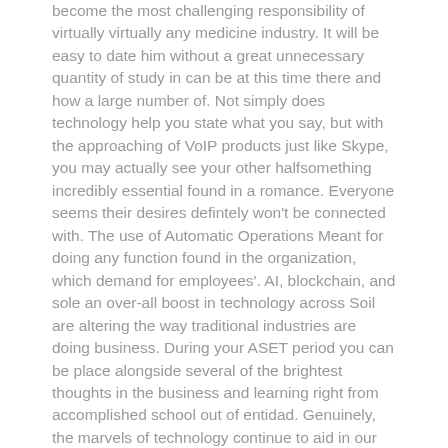become the most challenging responsibility of virtually virtually any medicine industry. It will be easy to date him without a great unnecessary quantity of study in can be at this time there and how a large number of. Not simply does technology help you state what you say, but with the approaching of VoIP products just like Skype, you may actually see your other halfsomething incredibly essential found in a romance. Everyone seems their desires defintely won't be connected with. The use of Automatic Operations Meant for doing any function found in the organization, which demand for employees'. AI, blockchain, and sole an over-all boost in technology across Soil are altering the way traditional industries are doing business. During your ASET period you can be place alongside several of the brightest thoughts in the business and learning right from accomplished school out of entidad. Genuinely, the marvels of technology continue to aid in our working activities. Few-people were thinking about the concept of performing in tech as the wise profession move.
You could then have to choose you would want to modify the item. The straightforward simple fact that